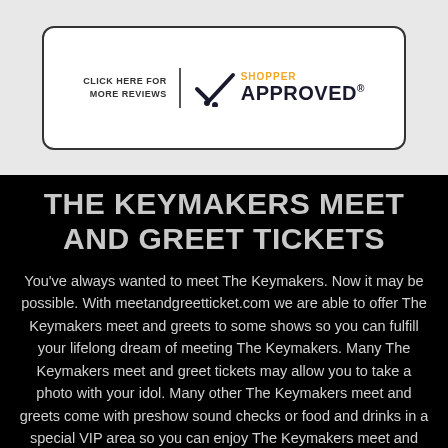[Figure (logo): Shopper Approved badge with checkmark logo and text 'CLICK HERE FOR MORE REVIEWS' inside a white rounded card on a gray background]
THE KEYMAKERS MEET AND GREET TICKETS
You've always wanted to meet The Keymakers. Now it may be possible. With meetandgreetticket.com we are able to offer The Keymakers meet and greets to some shows so you can fulfill your lifelong dream of meeting The Keymakers. Many The Keymakers meet and greet tickets may allow you to take a photo with your idol. Many other The Keymakers meet and greets come with preshow sound checks or food and drinks in a special VIP area so you can enjoy The Keymakers meet and greet experiences in luxury. The Keymakers meet and